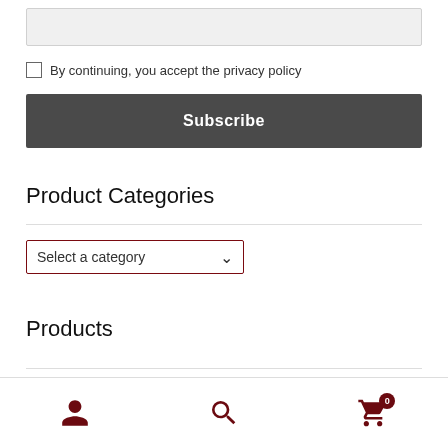By continuing, you accept the privacy policy
Subscribe
Product Categories
Select a category
Products
user icon | search icon | cart icon (0)